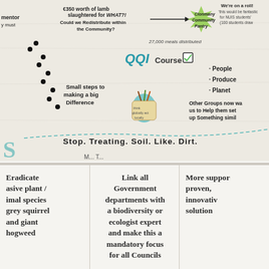[Figure (photo): A whiteboard or paper with hand-drawn text and illustrations about community food redistribution, QQI course, Clonmany Community Pantry, 27,000 meals distributed, People/Produce/Planet, small steps to making a big difference, stop treating soil like dirt, and other groups wanting help to set up something similar.]
Eradicate asive plant / imal species grey squirrel and giant hogweed
Link all Government departments with a biodiversity or ecologist expert and make this a mandatory focus for all Councils
More suppor proven, innovativ solution